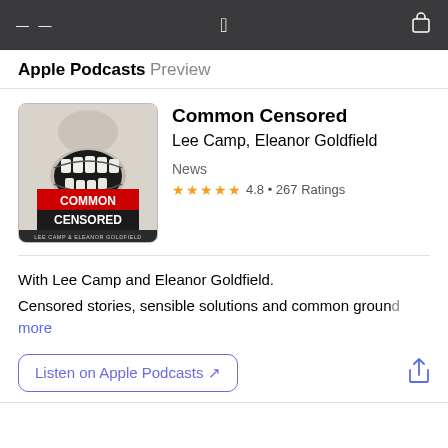Apple Podcasts Preview
[Figure (illustration): Common Censored podcast artwork: black and white illustration of a face with mouth open wide showing teeth, with red block text 'COMMON CENSORED' and white text 'LEE CAMP & ELEANOR GOLDFIELD' at the bottom]
Common Censored
Lee Camp, Eleanor Goldfield
News
★★★★★ 4.8 • 267 Ratings
With Lee Camp and Eleanor Goldfield.
Censored stories, sensible solutions and common ground more
Listen on Apple Podcasts ↗